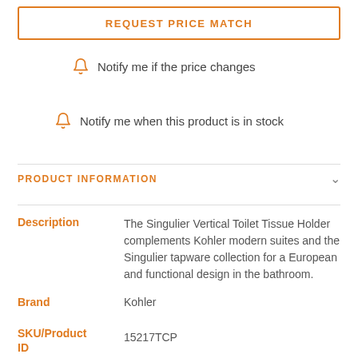REQUEST PRICE MATCH
Notify me if the price changes
Notify me when this product is in stock
PRODUCT INFORMATION
| Field | Value |
| --- | --- |
| Description | The Singulier Vertical Toilet Tissue Holder complements Kohler modern suites and the Singulier tapware collection for a European and functional design in the bathroom. |
| Brand | Kohler |
| SKU/Product ID | 15217TCP |